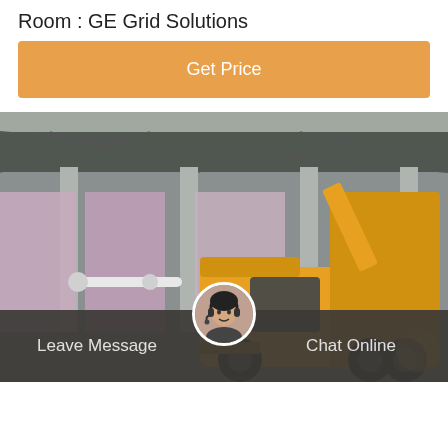Room : GE Grid Solutions
Get Price
[Figure (photo): Yellow truck/crane vehicle parked at an industrial facility with covered structures and columns in the background.]
Leave Message
Chat Online